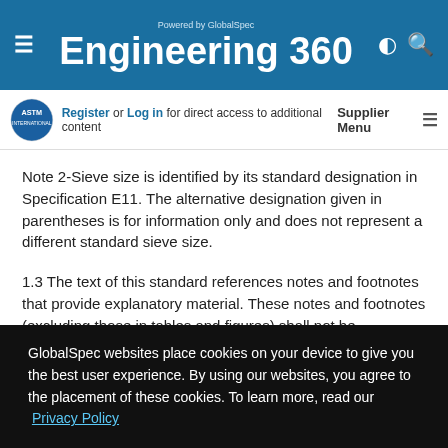Powered by GlobalSpec Engineering 360
Register or Log in for direct access to additional content
Supplier Menu
Note 2-Sieve size is identified by its standard designation in Specification E11. The alternative designation given in parentheses is for information only and does not represent a different standard sieve size.
1.3 The text of this standard references notes and footnotes that provide explanatory material. These notes and footnotes (excluding those in tables and figures) shall not be considered as requirements of the standard.
GlobalSpec websites place cookies on your device to give you the best user experience. By using our websites, you agree to the placement of these cookies. To learn more, read our Privacy Policy